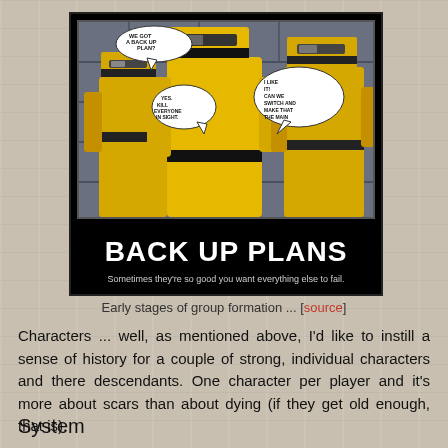[Figure (illustration): A motivational poster meme featuring comic book characters with yellow box-shaped heads (MODOK-style robots). Speech bubbles read 'WE GOT A BACK UP PLAN?' 'YES. KILL EVERYONE IN SIGHT.' 'I LIKE IT! CAN WE SWITCH AND MAKE THAT THE MAIN'. Large white text reads 'BACK UP PLANS' and subtitle reads 'Sometimes they're so good you want everything else to fail.']
Early stages of group formation ... [source]
Characters ... well, as mentioned above, I'd like to instill a sense of history for a couple of strong, individual characters and there descendants. One character per player and it's more about scars than about dying (if they get old enough, that is).
System